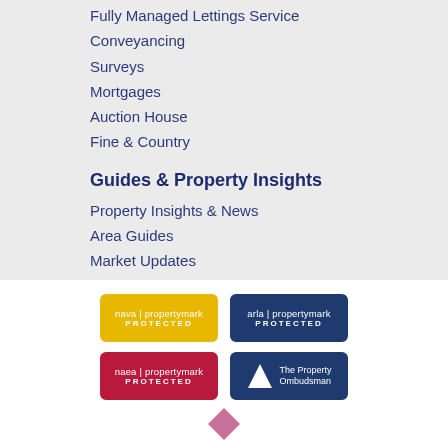Fully Managed Lettings Service
Conveyancing
Surveys
Mortgages
Auction House
Fine & Country
Guides & Property Insights
Property Insights & News
Area Guides
Market Updates
[Figure (logo): Four accreditation/membership badges: nava propertymark PROTECTED (yellow), arla propertymark PROTECTED (dark blue), naea propertymark PROTECTED (red), The Property Ombudsman (dark blue with white triangle logo), and a partial pink/purple diamond shape at the bottom.]